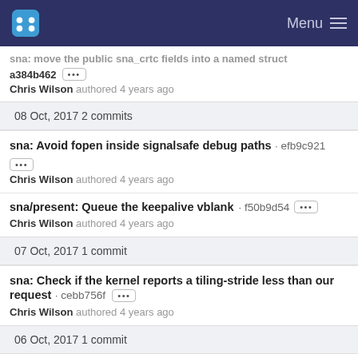Menu
sna: move the public sna_crtc fields into a named struct · a384b462 authored 4 years ago Chris Wilson
08 Oct, 2017 2 commits
sna: Avoid fopen inside signalsafe debug paths · efb9c921
Chris Wilson authored 4 years ago
sna/present: Queue the keepalive vblank · f50b9d54
Chris Wilson authored 4 years ago
07 Oct, 2017 1 commit
sna: Check if the kernel reports a tiling-stride less than our request · cebb756f
Chris Wilson authored 4 years ago
06 Oct, 2017 1 commit